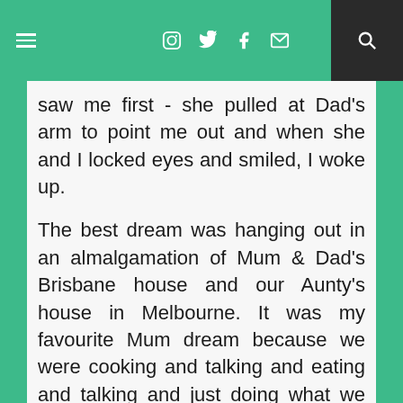≡  [instagram] [twitter] [facebook] [mail]  [search]
saw me first - she pulled at Dad's arm to point me out and when she and I locked eyes and smiled, I woke up.
The best dream was hanging out in an almalgamation of Mum & Dad's Brisbane house and our Aunty's house in Melbourne. It was my favourite Mum dream because we were cooking and talking and eating and talking and just doing what we normally did together when she was still alive. I woke up from this dream feeling like she was still here.